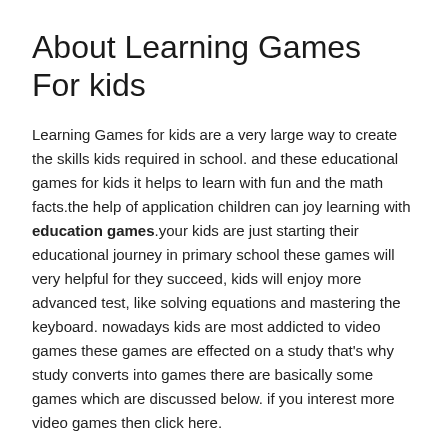About Learning Games For kids
Learning Games for kids are a very large way to create the skills kids required in school. and these educational games for kids it helps to learn with fun and the math facts.the help of application children can joy learning with education games.your kids are just starting their educational journey in primary school these games will very helpful for they succeed, kids will enjoy more advanced test, like solving equations and mastering the keyboard. nowadays kids are most addicted to video games these games are effected on a study that's why study converts into games there are basically some games which are discussed below. if you interest more video games then click here.
1)  Endless Alphabet
Endless Alphabet is an educational app this application available on iOS and android platform. this app designed to